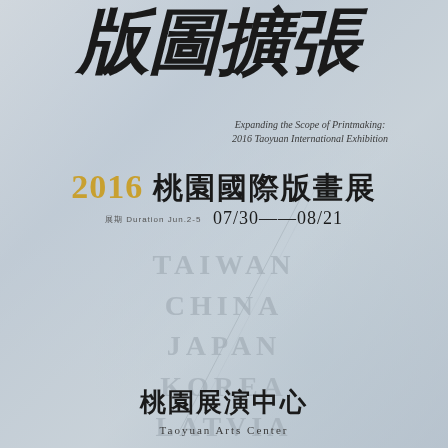版圖擴張
Expanding the Scope of Printmaking:
2016 Taoyuan International Exhibition
2016 桃園國際版畫展
07/30——08/21
TAIWAN
CHINA
JAPAN
KOREA
LATVIA
桃園展演中心
Taoyuan Arts Center